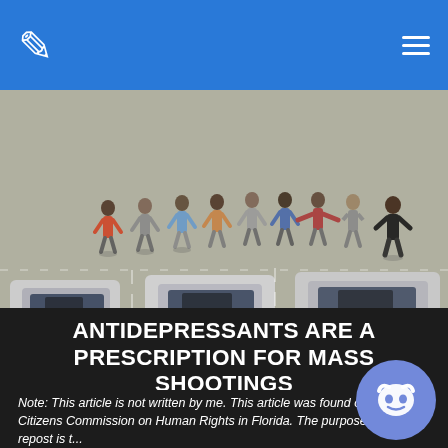The 1st Amender [logo] [hamburger menu]
[Figure (photo): Aerial view of students evacuating a school parking lot with cars visible, being escorted in a line across a paved area]
ANTIDEPRESSANTS ARE A PRESCRIPTION FOR MASS SHOOTINGS
Note: This article is not written by me. This article was found on the Citizens Commission on Human Rights in Florida. The purpose of this repost is t...
Written by: The 1st Amender
★★★★★ (1 blue star, 4 grey stars)